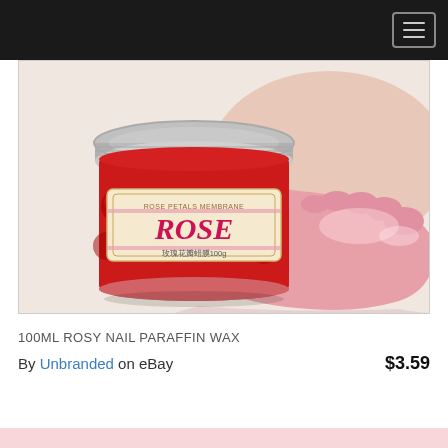[Figure (photo): Product photo showing a round jar of Rose Petals Membrane rose paraffin wax with silver lid and red rose label alongside a foot coated in pink wax]
100ML ROSY NAIL PARAFFIN WAX
By Unbranded on eBay   $3.59